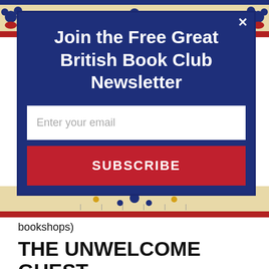[Figure (illustration): Decorative floral/botanical tile pattern banner in blue, red, yellow and cream at the top of the page]
Join the Free Great British Book Club Newsletter
Enter your email
SUBSCRIBE
bookshops)
THE UNWELCOME GUEST